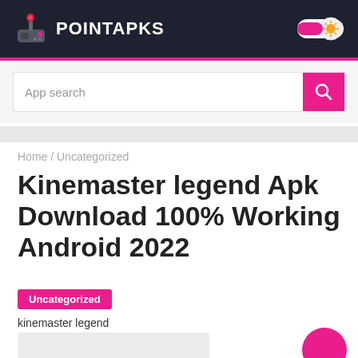POINTAPKS
App search
Home / Uncategorized
Kinemaster legend Apk Download 100% Working Android 2022
Uncategorized
kinemaster legend
[Figure (other): Gray image placeholder area]